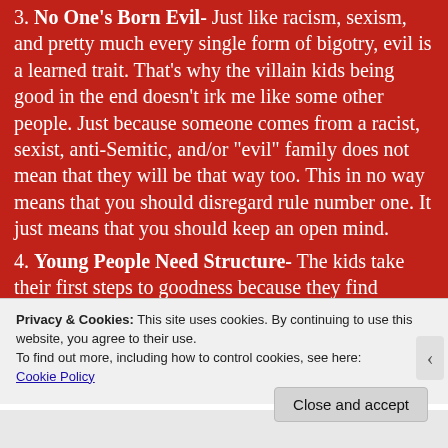3. No One's Born Evil- Just like racism, sexism, and pretty much every single form of bigotry, evil is a learned trait. That's why the villain kids being good in the end doesn't irk me like some other people. Just because someone comes from a racist, sexist, anti-Semitic, and/or "evil" family does not mean that they will be that way too. This in no way means that you should disregard rule number one. It just means that you should keep an open mind.
4. Young People Need Structure- The kids take their first steps to goodness because they find something else to occupy their time. While
Privacy & Cookies: This site uses cookies. By continuing to use this website, you agree to their use.
To find out more, including how to control cookies, see here:
Cookie Policy
Close and accept